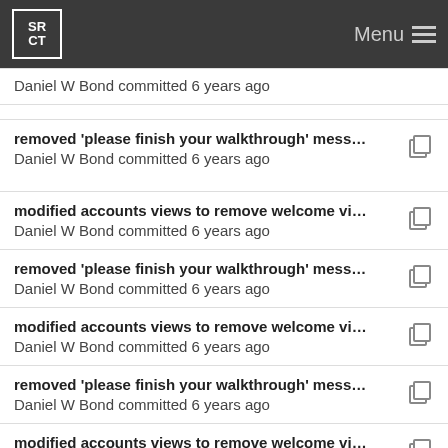SRCT Menu
Daniel W Bond committed 6 years ago
removed 'please finish your walkthrough' messag...
Daniel W Bond committed 6 years ago
modified accounts views to remove welcome views
Daniel W Bond committed 6 years ago
removed 'please finish your walkthrough' messag...
Daniel W Bond committed 6 years ago
modified accounts views to remove welcome views
Daniel W Bond committed 6 years ago
removed 'please finish your walkthrough' messag...
Daniel W Bond committed 6 years ago
modified accounts views to remove welcome views
Daniel W Bond committed 6 years ago
removed 'please finish your walkthrough' messag...